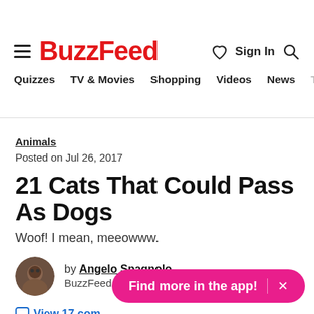BuzzFeed
Quizzes  TV & Movies  Shopping  Videos  News  Ta
Animals
Posted on Jul 26, 2017
21 Cats That Could Pass As Dogs
Woof! I mean, meeowww.
by Angelo Spagnolo BuzzFeed Staff
View 17 com
Find more in the app!  ×